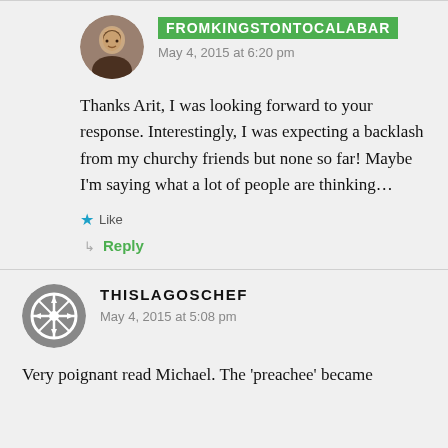fromkingstontocalabar — May 4, 2015 at 6:20 pm
Thanks Arit, I was looking forward to your response. Interestingly, I was expecting a backlash from my churchy friends but none so far! Maybe I'm saying what a lot of people are thinking…
★ Like
↳ Reply
thislagoschef — May 4, 2015 at 5:08 pm
Very poignant read Michael. The 'preachee' became